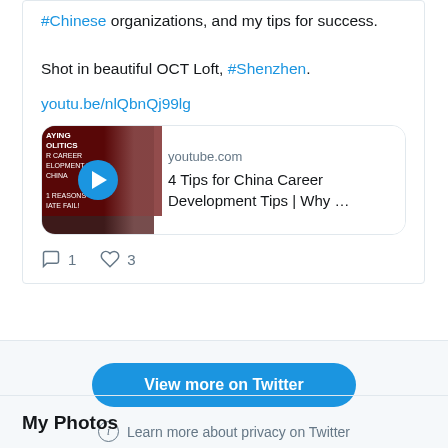#Chinese organizations, and my tips for success.

Shot in beautiful OCT Loft, #Shenzhen.
youtu.be/nlQbnQj99lg
[Figure (screenshot): YouTube video preview card showing thumbnail with text 'AYING OLITICS' on dark red background with play button, and metadata showing youtube.com and title '4 Tips for China Career Development Tips | Why ...']
1   3 (comment and like counts)
View more on Twitter
Learn more about privacy on Twitter
My Photos